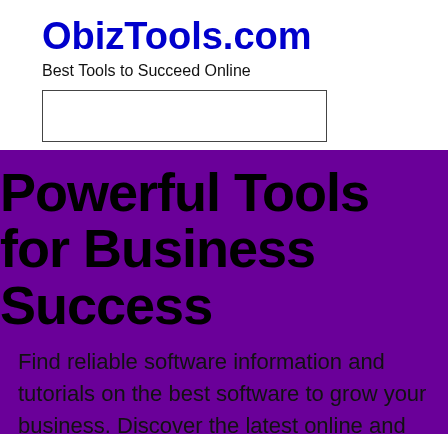ObizTools.com
Best Tools to Succeed Online
[Figure (other): Search box / input field, empty, with a rectangular border]
Powerful Tools for Business Success
Find reliable software information and tutorials on the best software to grow your business. Discover the latest online and offline tools, software, and apps to grow your business with ease.